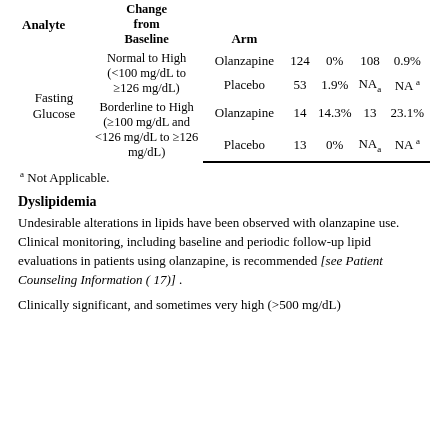| Analyte | Change from Baseline | Arm |  |  |  |  |
| --- | --- | --- | --- | --- | --- | --- |
| Fasting Glucose | Normal to High (<100 mg/dL to ≥126 mg/dL) | Olanzapine | 124 | 0% | 108 | 0.9% |
|  |  | Placebo | 53 | 1.9% | NA a | NA a |
|  | Borderline to High (≥100 mg/dL and <126 mg/dL to ≥126 mg/dL) | Olanzapine | 14 | 14.3% | 13 | 23.1% |
|  |  | Placebo | 13 | 0% | NA a | NA a |
a Not Applicable.
Dyslipidemia
Undesirable alterations in lipids have been observed with olanzapine use. Clinical monitoring, including baseline and periodic follow-up lipid evaluations in patients using olanzapine, is recommended [see Patient Counseling Information ( 17)] .
Clinically significant, and sometimes very high (>500 mg/dL)